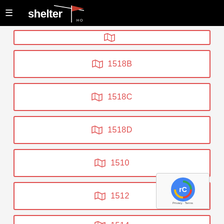Shelter Homes
1518B
1518C
1518D
1510
1512
1514